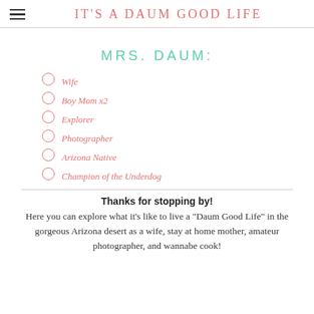IT'S A DAUM GOOD LIFE
MRS. DAUM:
Wife
Boy Mom x2
Explorer
Photographer
Arizona Native
Champion of the Underdog
Thanks for stopping by!
Here you can explore what it's like to live a "Daum Good Life" in the gorgeous Arizona desert as a wife, stay at home mother, amateur photographer, and wannabe cook!